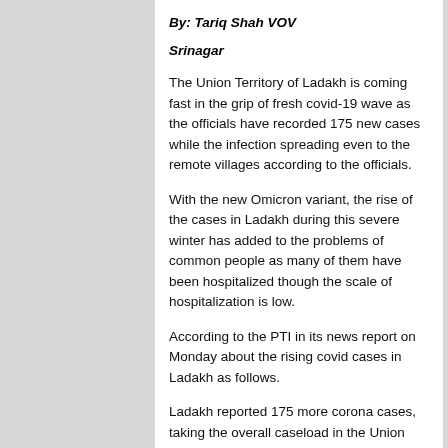By: Tariq Shah VOV
Srinagar
The Union Territory of Ladakh is coming fast in the grip of fresh covid-19 wave as the officials have recorded 175 new cases while the infection spreading even to the remote villages according to the officials.
With the new Omicron variant, the rise of the cases in Ladakh during this severe winter has added to the problems of common people as many of them have been hospitalized though the scale of hospitalization is low.
According to the PTI in its news report on Monday about the rising covid cases in Ladakh as follows.
Ladakh reported 175 more corona cases, taking the overall caseload in the Union Territory to 23,384, out of which 22,342 people have recuperated while active cases stands at 820,